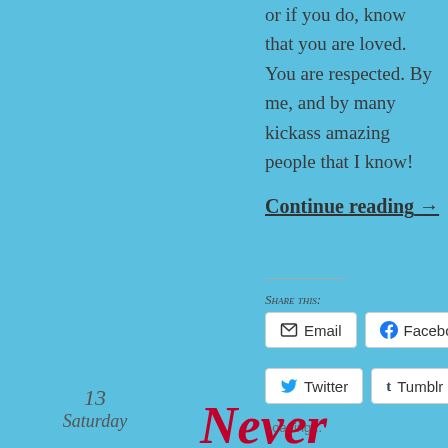or if you do, know that you are loved. You are respected. By me, and by many kickass amazing people that I know!
Continue reading →
Share this:
Email  Facebook  Reddit  Twitter  Tumblr
Loading...
13
Saturday
Never Forget: 20